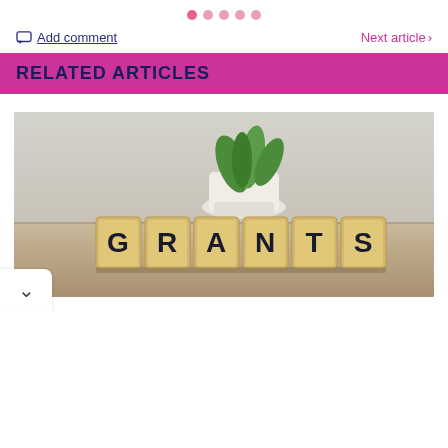[Figure (other): Pagination dots: one pink filled dot followed by four lighter pink dots]
Add comment
Next article >
RELATED ARTICLES
[Figure (photo): Photo of wooden letter tiles spelling GRANTS on a surface with a blurred white plant pot with green succulent in the background]